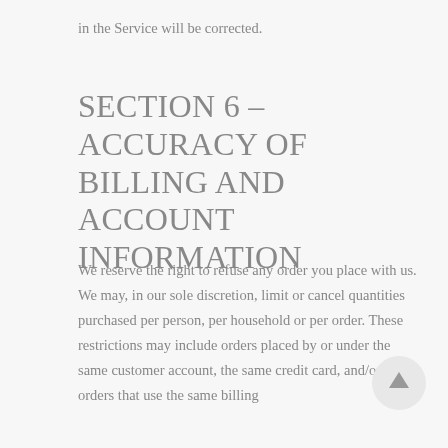in the Service will be corrected.
SECTION 6 – ACCURACY OF BILLING AND ACCOUNT INFORMATION
We reserve the right to refuse any order you place with us. We may, in our sole discretion, limit or cancel quantities purchased per person, per household or per order. These restrictions may include orders placed by or under the same customer account, the same credit card, and/or orders that use the same billing